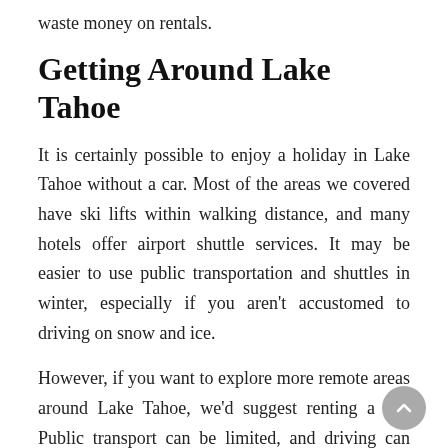waste money on rentals.
Getting Around Lake Tahoe
It is certainly possible to enjoy a holiday in Lake Tahoe without a car. Most of the areas we covered have ski lifts within walking distance, and many hotels offer airport shuttle services. It may be easier to use public transportation and shuttles in winter, especially if you aren't accustomed to driving on snow and ice.
However, if you want to explore more remote areas around Lake Tahoe, we'd suggest renting a car. Public transport can be limited, and driving can make reaching some attractions much easier, particularly in summer.
Evaluate whether you need a car rental based on what you plan to do and what season you visit Lake Tahoe.
Final Thoughts